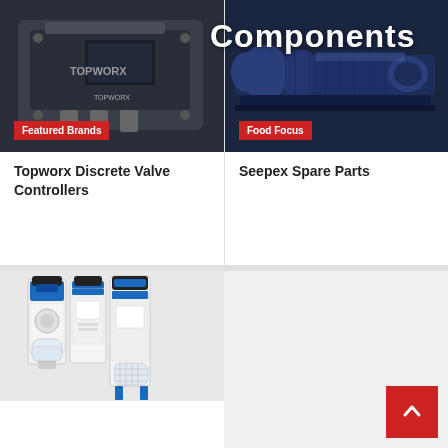Components
[Figure (photo): Topworx discrete valve controller device, dark grey industrial component]
Featured Brands
Topworx Discrete Valve Controllers
[Figure (photo): Seepex progressive cavity pump spare parts, metallic blue industrial pump]
Food Focus
Seepex Spare Parts
[Figure (photo): Festo pneumatic filter/regulator unit, white and blue industrial component]